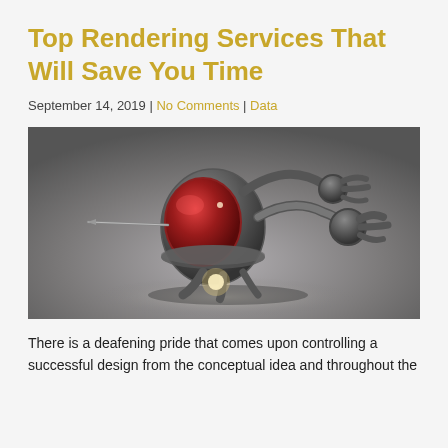Top Rendering Services That Will Save You Time
September 14, 2019 | No Comments | Data
[Figure (photo): 3D rendered sci-fi robot or mechanical creature with a red dome/cockpit and dark metallic body, hovering or moving forward on a gray gradient background]
There is a deafening pride that comes upon controlling a successful design from the conceptual idea and throughout the